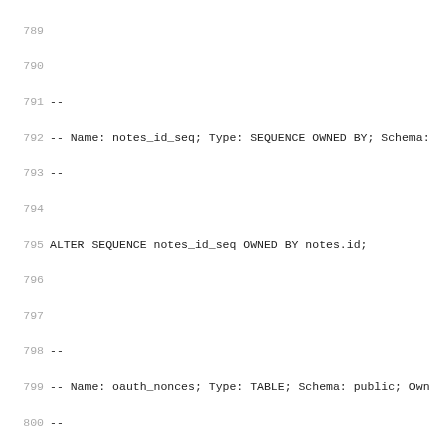SQL code listing lines 789-820 showing ALTER SEQUENCE, CREATE TABLE oauth_nonces, and CREATE SEQUENCE oauth_nonces_id_seq statements